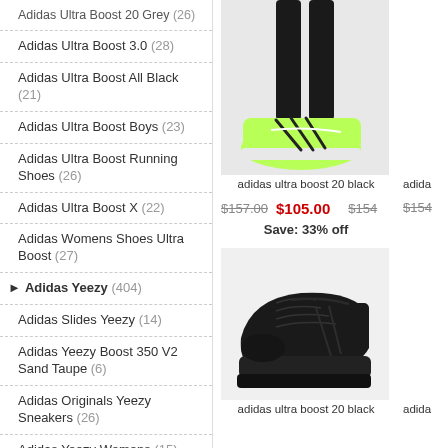Adidas Ultra Boost 20 Grey (26)
Adidas Ultra Boost 3.0 (28)
Adidas Ultra Boost All Black (21)
Adidas Ultra Boost Boys (23)
Adidas Ultra Boost Running Shoes (26)
Adidas Ultra Boost X (22)
Adidas Womens Shoes Ultra Boost (27)
Adidas Yeezy (404)
Adidas Slides Yeezy (14)
Adidas Yeezy Boost 350 V2 Sand Taupe (6)
Adidas Originals Yeezy Sneakers (26)
Adidas Yeezy Womens (15)
Men'S Adidas Originals Yeezy Shoes (19)
Adidas Yeezy Boost 700 Sun (7)
[Figure (photo): adidas ultra boost 20 black shoe - neon green colorway, worn on legs with black tights]
adidas ultra boost 20 black
$157.00  $105.00  $154
Save: 33% off
[Figure (photo): adidas ultra boost 20 black shoe - all black colorway]
adidas ultra boost 20 black
adida